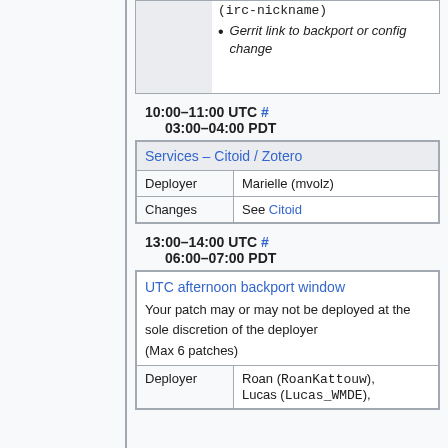| (irc-nickname) | • Gerrit link to backport or config change |
10:00–11:00 UTC # 03:00–04:00 PDT
| Services – Citoid / Zotero |
| --- |
| Deployer | Marielle (mvolz) |
| Changes | See Citoid |
13:00–14:00 UTC # 06:00–07:00 PDT
| UTC afternoon backport window |
| --- |
|  | Your patch may or may not be deployed at the sole discretion of the deployer
(Max 6 patches) |
| Deployer | Roan (RoanKattouw), Lucas (Lucas_WMDE), |